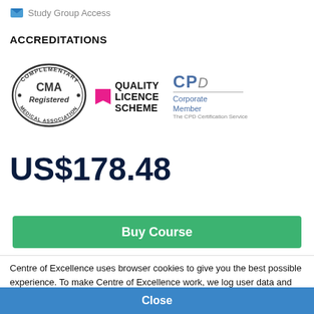Study Group Access
ACCREDITATIONS
[Figure (logo): CMA Complementary Medical Association Registered stamp logo, oval shape with decorative border]
[Figure (logo): Quality Licence Scheme logo with pink bookmark icon and bold text]
[Figure (logo): CPD Corporate Member logo from The CPD Certification Service]
US$178.48
Buy Course
Centre of Excellence uses browser cookies to give you the best possible experience. To make Centre of Excellence work, we log user data and share it with processors. You can view our cookie policy here.
Close